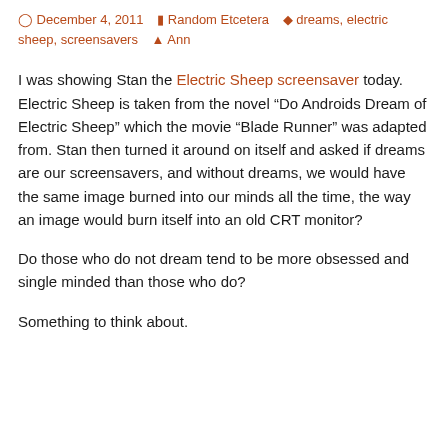December 4, 2011   Random Etcetera   dreams, electric sheep, screensavers   Ann
I was showing Stan the Electric Sheep screensaver today. Electric Sheep is taken from the novel “Do Androids Dream of Electric Sheep” which the movie “Blade Runner” was adapted from. Stan then turned it around on itself and asked if dreams are our screensavers, and without dreams, we would have the same image burned into our minds all the time, the way an image would burn itself into an old CRT monitor?
Do those who do not dream tend to be more obsessed and single minded than those who do?
Something to think about.